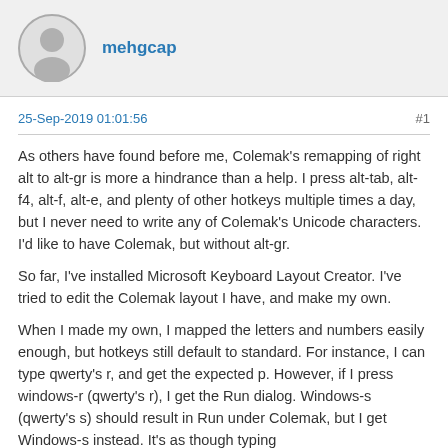mehgcap
25-Sep-2019 01:01:56
#1
As others have found before me, Colemak's remapping of right alt to alt-gr is more a hindrance than a help. I press alt-tab, alt-f4, alt-f, alt-e, and plenty of other hotkeys multiple times a day, but I never need to write any of Colemak's Unicode characters. I'd like to have Colemak, but without alt-gr.
So far, I've installed Microsoft Keyboard Layout Creator. I've tried to edit the Colemak layout I have, and make my own.
When I made my own, I mapped the letters and numbers easily enough, but hotkeys still default to standard. For instance, I can type qwerty's r, and get the expected p. However, if I press windows-r (qwerty's r), I get the Run dialog. Windows-s (qwerty's s) should result in Run under Colemak, but I get Windows-s instead. It's as though typing...